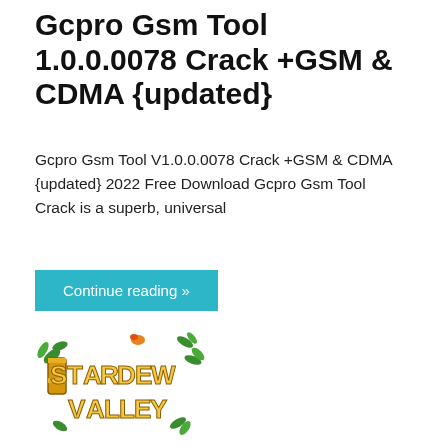Gcpro Gsm Tool 1.0.0.0078 Crack +GSM & CDMA {updated}
Gcpro Gsm Tool V1.0.0.0078 Crack +GSM & CDMA {updated} 2022 Free Download Gcpro Gsm Tool Crack is a superb, universal
Continue reading »
[Figure (logo): Stardew Valley game logo with golden stylized text and green leaf decorations]